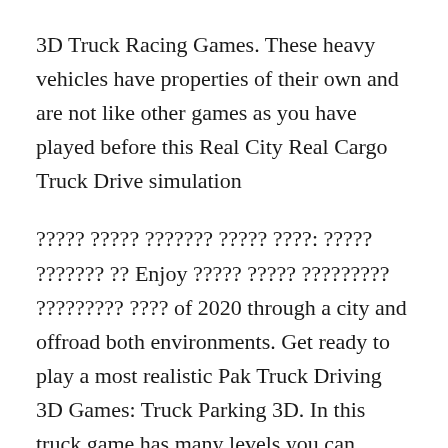3D Truck Racing Games. These heavy vehicles have properties of their own and are not like other games as you have played before this Real City Real Cargo Truck Drive simulation
????? ????? ??????? ????? ????: ????? ??????? ?? Enjoy ????? ????? ????????? ????????? ???? of 2020 through a city and offroad both environments. Get ready to play a most realistic Pak Truck Driving 3D Games: Truck Parking 3D. In this truck game has many levels you can complete the levels with a different mission. Every level has own story. Prove your truck cargo driving skills in the city and offroad environment. In the city environment, it is not easy to drive to traffic rush in the city. The control of this